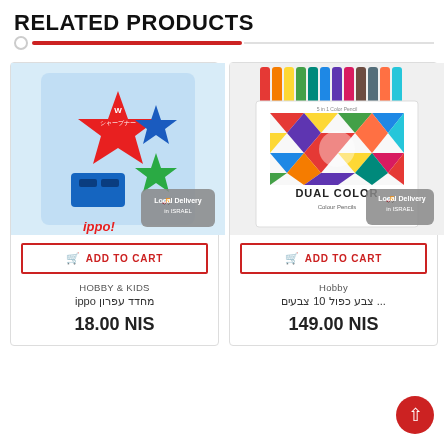RELATED PRODUCTS
[Figure (photo): Product card: Ippo pencil sharpener with Japanese packaging, star-shaped branding, blue sharpener body. Local Delivery in Israel badge.]
ADD TO CART
HOBBY & KIDS
מחדד עפרון ippo
18.00 NIS
[Figure (photo): Product card: Dual Color colored pencils set, 10 pencils shown at top, colorful geometric pattern on box, 'DUAL COLOR' branding. Local Delivery in Israel badge.]
ADD TO CART
Hobby
... צבע כפול 10 צבעים
149.00 NIS